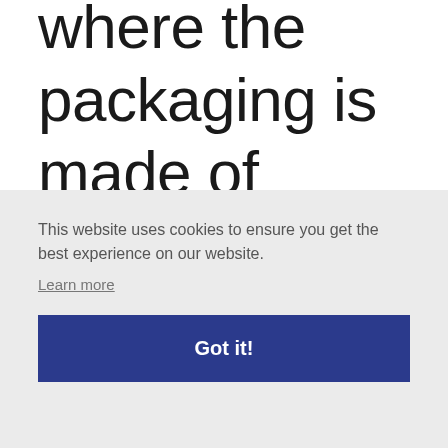where the packaging is made of multiple materials of which plastic is not
This website uses cookies to ensure you get the best experience on our website.
Learn more
Got it!